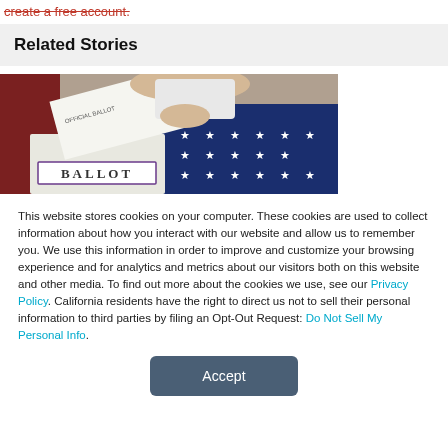create a free account.
Related Stories
[Figure (photo): Person inserting an official ballot into a ballot box draped with an American flag]
This website stores cookies on your computer. These cookies are used to collect information about how you interact with our website and allow us to remember you. We use this information in order to improve and customize your browsing experience and for analytics and metrics about our visitors both on this website and other media. To find out more about the cookies we use, see our Privacy Policy. California residents have the right to direct us not to sell their personal information to third parties by filing an Opt-Out Request: Do Not Sell My Personal Info.
Accept